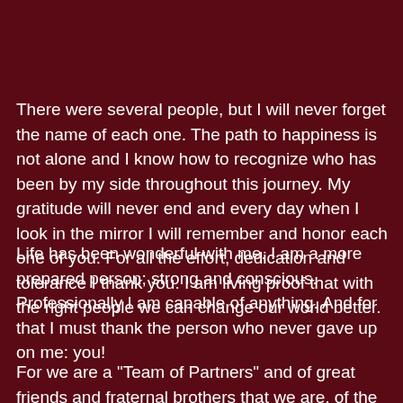There were several people, but I will never forget the name of each one. The path to happiness is not alone and I know how to recognize who has been by my side throughout this journey. My gratitude will never end and every day when I look in the mirror I will remember and honor each one of you. For all the effort, dedication and tolerance I thank you. I am living proof that with the right people we can change our world better.
Life has been wonderful with me. I am a more prepared person; strong and conscious. Professionally I am capable of anything. And for that I must thank the person who never gave up on me: you!
For we are a "Team of Partners" and of great friends and fraternal brothers that we are, of the support that we add